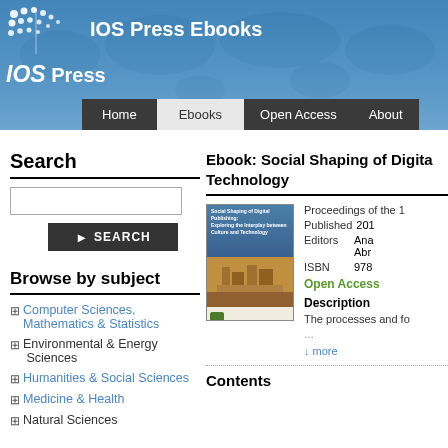[Figure (screenshot): IOS Press Ebooks website header with blue world map background, IOS Press logo with dot grid icon, navigation bar with Home, Ebooks, Open Access, About tabs]
Search
[Figure (other): Search text input box]
[Figure (other): SEARCH button with arrow icon]
Browse by subject
Computer Sciences, Mathematics & Statistics
Environmental & Energy Sciences
Humanities & Social Sciences
Medicine & Health
Natural Sciences
Ebook: Social Shaping of Digital Technology
Proceedings of the 1
Published 201
Editors Ana Abr
ISBN 978
Open Access
Description
The processes and fo
↓ more
Contents